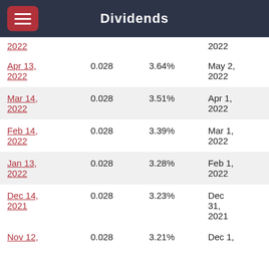Dividends
| Ex-Div Date | Amount | Yield | Pay Date |
| --- | --- | --- | --- |
| 2022 |  |  | 2022 |
| Apr 13, 2022 | 0.028 | 3.64% | May 2, 2022 |
| Mar 14, 2022 | 0.028 | 3.51% | Apr 1, 2022 |
| Feb 14, 2022 | 0.028 | 3.39% | Mar 1, 2022 |
| Jan 13, 2022 | 0.028 | 3.28% | Feb 1, 2022 |
| Dec 14, 2021 | 0.028 | 3.23% | Dec 31, 2021 |
| Nov 12, ... | 0.028 | 3.21% | Dec 1, ... |